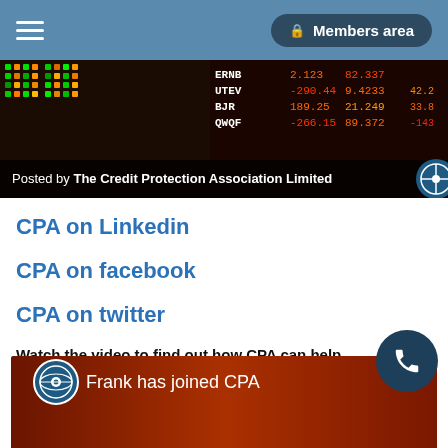Members area
[Figure (screenshot): Stock market ticker board showing ERNB, UTEV, BJR, QWQF with price data. Bottom bar reads: Posted by The Credit Protection Association Limited]
CPA on Linkedin
CPA on facebook
CPA on twitter
Watch the video to find out how CPA can help you!
[Figure (screenshot): Video thumbnail with CPA logo and text: Frank has joined CPA]